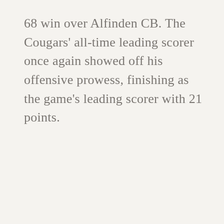68 win over Alfinden CB. The Cougars' all-time leading scorer once again showed off his offensive prowess, finishing as the game's leading scorer with 21 points.